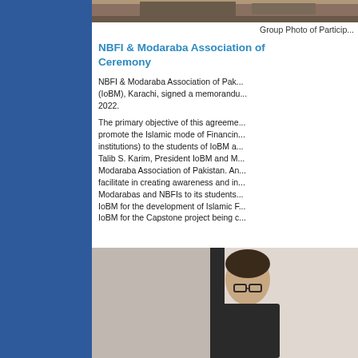[Figure (photo): Group photo of participants at the top of the page (partially visible)]
Group Photo of Particip...
NBFI & Modaraba Association of ... Ceremony
NBFI & Modaraba Association of Pak... (IoBM), Karachi, signed a memorand... 2022.
The primary objective of this agreeme... promote the Islamic mode of Financin... institutions) to the students of IoBM a... Talib S. Karim, President IoBM and M... Modaraba Association of Pakistan. An... facilitate in creating awareness and in... Modarabas and NBFIs to its students... IoBM for the development of Islamic F... IoBM for the Capstone project being c...
[Figure (photo): Photo of a person speaking at a podium or event, partially visible at the bottom of the page]